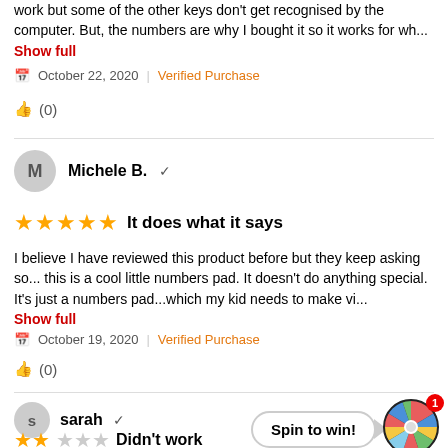work but some of the other keys don't get recognised by the computer. But, the numbers are why I bought it so it works for wh...
Show full
October 22, 2020  |  Verified Purchase
(0)
Michele B. ✓
★★★★★  It does what it says
I believe I have reviewed this product before but they keep asking so... this is a cool little numbers pad. It doesn't do anything special. It's just a numbers pad...which my kid needs to make vi...
Show full
October 19, 2020  |  Verified Purchase
(0)
sarah ✓
[Figure (other): Spin to win! promotional wheel widget with colorful spinning wheel and notification badge showing 1]
★★  Didn't work